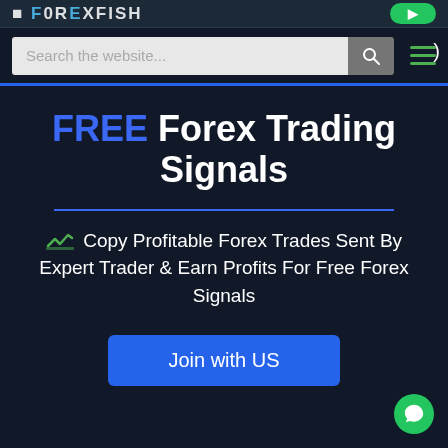[Figure (screenshot): Top portion of forex website showing partial logo text and a green button]
Search the website...
FREE Forex Trading Signals
Copy Profitable Forex Trades Sent By Expert Trader & Earn Profits For Free Forex Signals
Join with US